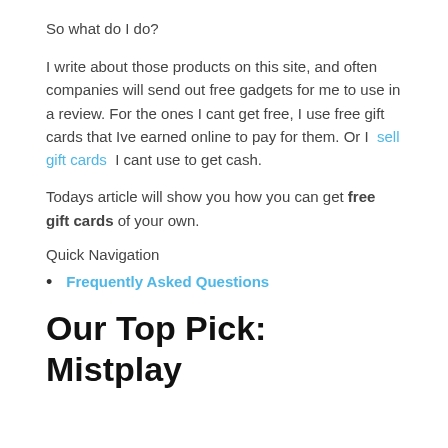So what do I do?
I write about those products on this site, and often companies will send out free gadgets for me to use in a review. For the ones I cant get free, I use free gift cards that Ive earned online to pay for them. Or I sell gift cards I cant use to get cash.
Todays article will show you how you can get free gift cards of your own.
Quick Navigation
Frequently Asked Questions
Our Top Pick: Mistplay